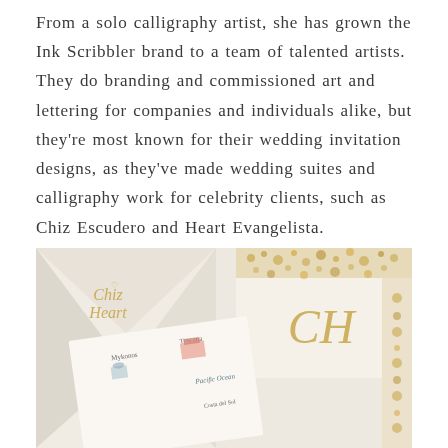From a solo calligraphy artist, she has grown the Ink Scribbler brand to a team of talented artists. They do branding and commissioned art and lettering for companies and individuals alike, but they're most known for their wedding invitation designs, as they've made wedding suites and calligraphy work for celebrity clients, such as Chiz Escudero and Heart Evangelista.
[Figure (photo): Wedding invitation suite photo showing envelope with gold calligraphy 'Chiz & Heart', a gold floral-bordered card with CH monogram, illustrated map invitation with Mykonos and other locations drawn, and cream envelopes with gold floral border design.]